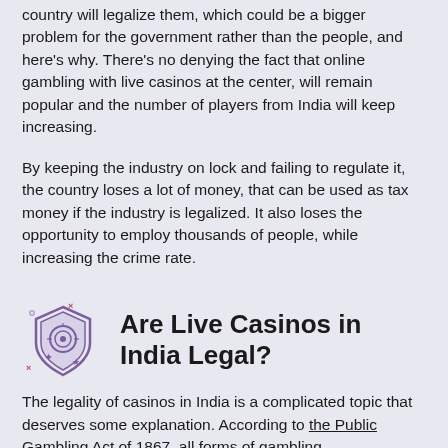country will legalize them, which could be a bigger problem for the government rather than the people, and here’s why. There’s no denying the fact that online gambling with live casinos at the center, will remain popular and the number of players from India will keep increasing.
By keeping the industry on lock and failing to regulate it, the country loses a lot of money, that can be used as tax money if the industry is legalized. It also loses the opportunity to employ thousands of people, while increasing the crime rate.
[Figure (illustration): Purple shield/badge icon with decorative elements including a circular design and stars]
Are Live Casinos in India Legal?
The legality of casinos in India is a complicated topic that deserves some explanation. According to the Public Gambling Act of 1867, all forms of gambling